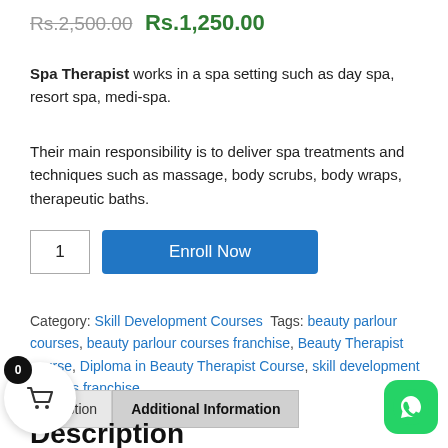Rs.2,500.00 Rs.1,250.00
Spa Therapist works in a spa setting such as day spa, resort spa, medi-spa.
Their main responsibility is to deliver spa treatments and techniques such as massage, body scrubs, body wraps, therapeutic baths.
1  Enroll Now
Category: Skill Development Courses Tags: beauty parlour courses, beauty parlour courses franchise, Beauty Therapist course, Diploma in Beauty Therapist Course, skill development courses franchise
Description  Additional Information
Description